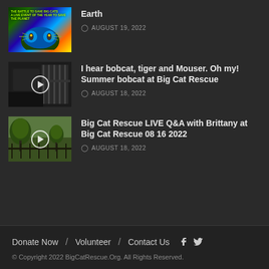[Figure (photo): Colorful tiger image with green/blue tones, text overlay reading 'THE BATTLE TO SAVE BIG CATS']
Earth
AUGUST 19, 2022
[Figure (photo): Night vision / grayscale image of a cage structure with play button overlay]
I hear bobcat, tiger and Mouser. Oh my! Summer bobcat at Big Cat Rescue
AUGUST 18, 2022
[Figure (photo): Outdoor daytime image of Big Cat Rescue enclosure area with trees and fencing, play button overlay]
Big Cat Rescue LIVE Q&A with Brittany at Big Cat Rescue 08 16 2022
AUGUST 18, 2022
Donate Now / Volunteer / Contact Us [Facebook] [Twitter]
© Copyright 2022 BigCatRescue.Org. All Rights Reserved.